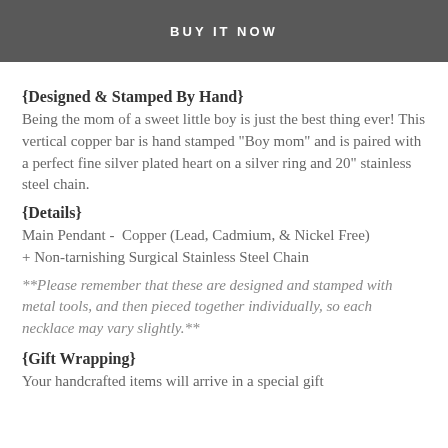BUY IT NOW
{Designed & Stamped By Hand}
Being the mom of a sweet little boy is just the best thing ever! This vertical copper bar is hand stamped "Boy mom" and is paired with a perfect fine silver plated heart on a silver ring and 20" stainless steel chain.
{Details}
Main Pendant -  Copper (Lead, Cadmium, & Nickel Free) + Non-tarnishing Surgical Stainless Steel Chain
**Please remember that these are designed and stamped with metal tools, and then pieced together individually, so each necklace may vary slightly.**
{Gift Wrapping}
Your handcrafted items will arrive in a special gift